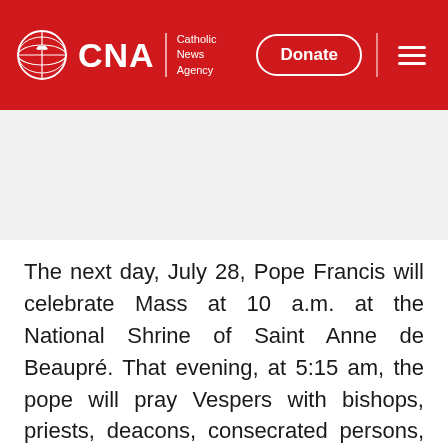CNA | Catholic News Agency — Donate
[Figure (other): Gray placeholder banner/advertisement area]
The next day, July 28, Pope Francis will celebrate Mass at 10 a.m. at the National Shrine of Saint Anne de Beaupré. That evening, at 5:15 am, the pope will pray Vespers with bishops, priests, deacons, consecrated persons, seminarians, and pastoral workers at the Cathedral of Notre Dame.
On the final day of his visit, Friday, July 29, the